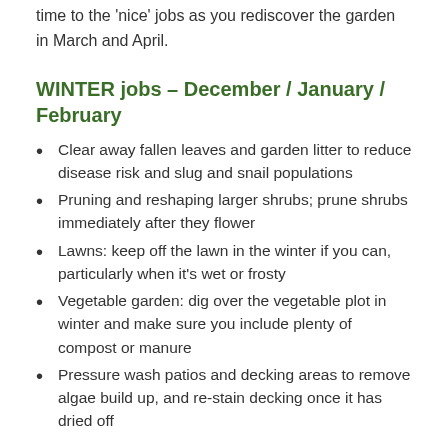time to the 'nice' jobs as you rediscover the garden in March and April.
WINTER jobs – December / January / February
Clear away fallen leaves and garden litter to reduce disease risk and slug and snail populations
Pruning and reshaping larger shrubs; prune shrubs immediately after they flower
Lawns: keep off the lawn in the winter if you can, particularly when it's wet or frosty
Vegetable garden: dig over the vegetable plot in winter and make sure you include plenty of compost or manure
Pressure wash patios and decking areas to remove algae build up, and re-stain decking once it has dried off